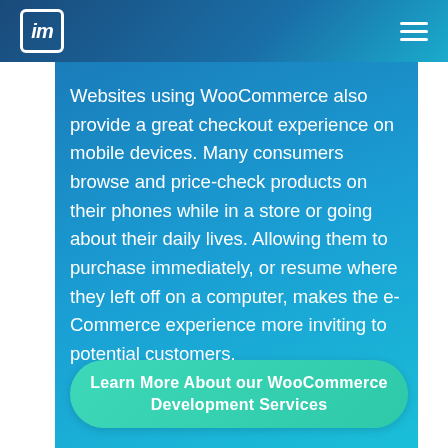im [logo] [hamburger menu]
Websites using WooCommerce also provide a great checkout experience on mobile devices. Many consumers browse and price-check products on their phones while in a store or going about their daily lives. Allowing them to purchase immediately, or resume where they left off on a computer, makes the e-Commerce experience more inviting to potential customers.
Learn More About our WooCommerce Development Services